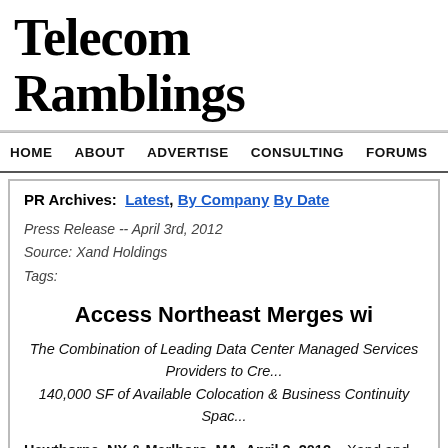Telecom Ramblings
HOME  ABOUT  ADVERTISE  CONSULTING  FORUMS  JOBS  CO...
PR Archives:  Latest,  By Company  By Date
Press Release -- April 3rd, 2012
Source: Xand Holdings
Tags:
Access Northeast Merges wi...
The Combination of Leading Data Center Managed Services Providers to Cre... 140,000 SF of Available Colocation & Business Continuity Spac...
Hawthorne, NY & Marlboro, MA, April 3, 2012 – Xand and Access Northeast form one of the largest privately held data center companies in the Northeast. The three states, New York, Connecticut and Massachusetts, serving nearly 1,000 cus...